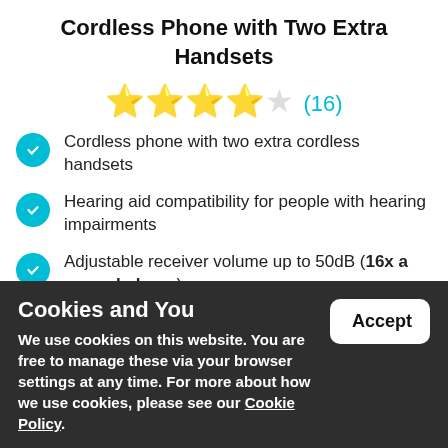Cordless Phone with Two Extra Handsets
[Figure (other): Star rating: 4 filled stars and 1 half/outline star, with review count (16) in teal]
Cordless phone with two extra cordless handsets
Hearing aid compatibility for people with hearing impairments
Adjustable receiver volume up to 50dB (16x a normal phone)
Contain extra loud ringtones and adjustable ring volume
£183.99
+ FREE UK delivery
MORE INFO »
Cookies and You
We use cookies on this website. You are free to manage these via your browser settings at any time. For more about how we use cookies, please see our Cookie Policy.
Accept